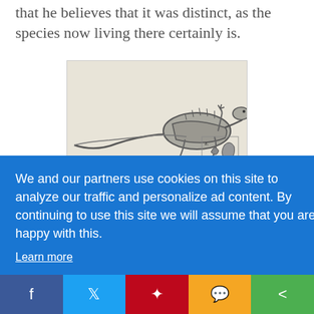that he believes that it was distinct, as the species now living there certainly is.
[Figure (illustration): Black and white engraving of a large lizard (iguana) viewed from the side, with a smaller inset showing a tooth labeled 'a.' at natural size and magnified.]
a. Tooth of natural size, and likewise magnified
We and our partners use cookies on this site to analyze our traffic and personalize ad content. By continuing to use this site we will assume that you are happy with this.
Learn more
Got it!